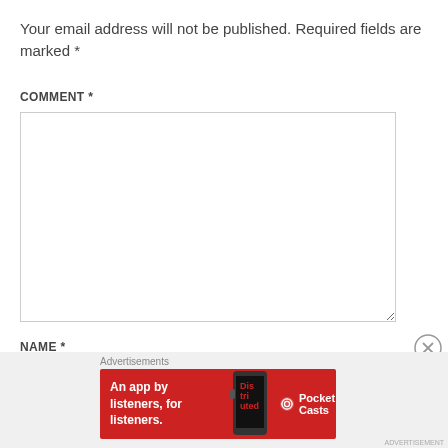Your email address will not be published. Required fields are marked *
COMMENT *
NAME *
[Figure (screenshot): A web form with a large comment textarea and a name input field, plus an advertisement banner at the bottom for Pocket Casts app.]
Advertisements
An app by listeners, for listeners.